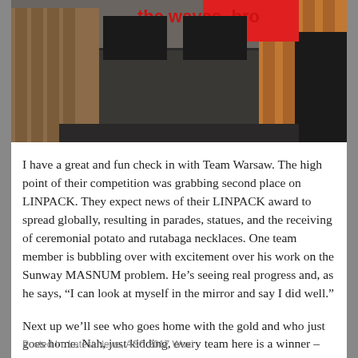[Figure (photo): Photo of team members at laptops with text overlay 'the waves, bro' in red and a red rectangle covering a face]
I have a great and fun check in with Team Warsaw. The high point of their competition was grabbing second place on LINPACK. They expect news of their LINPACK award to spread globally, resulting in parades, statues, and the receiving of ceremonial potato and rutabaga necklaces. One team member is bubbling over with excitement over his work on the Sunway MASNUM problem. He’s seeing real progress and, as he says, “I can look at myself in the mirror and say I did well.”
Next up we’ll see who goes home with the gold and who just goes home. Nah, just kidding, every team here is a winner – they’ve beat out 210 other teams who wanted to be in their place here at the finals. It’s just that some teams will win a bit more than others, that’s all.
Posted In: Latest News, ASC 2017 Wuxi